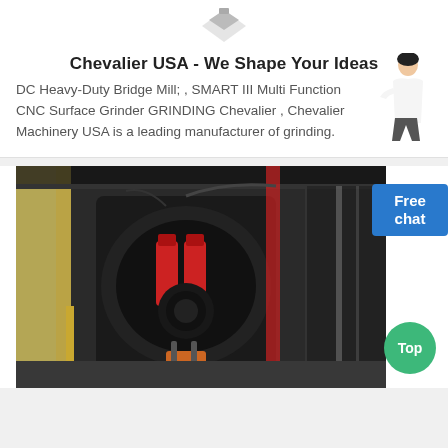[Figure (logo): Partial logo/icon visible at top center, gray geometric shape]
Chevalier USA - We Shape Your Ideas
DC Heavy-Duty Bridge Mill; , SMART III Multi Function CNC Surface Grinder GRINDING Chevalier , Chevalier Machinery USA is a leading manufacturer of grinding.
[Figure (photo): Industrial CNC bridge mill machine in a factory setting, showing large mechanical spindle head with red hydraulic cylinders and black housing, industrial floor and overhead structure visible.]
Free chat
Top